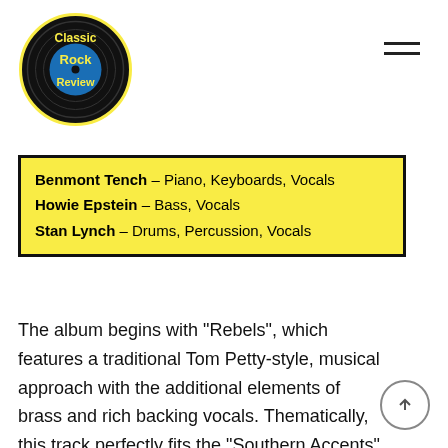Classic Rock Review
Benmont Tench – Piano, Keyboards, Vocals
Howie Epstein – Bass, Vocals
Stan Lynch – Drums, Percussion, Vocals
The album begins with “Rebels”, which features a traditional Tom Petty-style, musical approach with the additional elements of brass and rich backing vocals. Thematically, this track perfectly fits the “Southern Accents” theme and the song also found mainstream appeal by reaching #5 on the Billboard Album Rock Tracks chart. “It Ain’t Nothin’ To Me” is the first Petty/Stewart collaboration and migrates more towards, mid-eighties slick production. But with a funk bass by